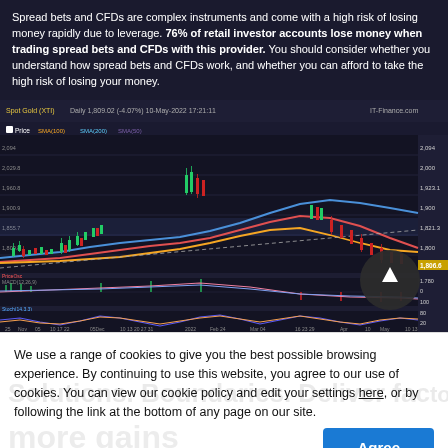Spread bets and CFDs are complex instruments and come with a high risk of losing money rapidly due to leverage. 76% of retail investor accounts lose money when trading spread bets and CFDs with this provider. You should consider whether you understand how spread bets and CFDs work, and whether you can afford to take the high risk of losing your money.
[Figure (continuous-plot): Gold/USD daily candlestick chart with multiple moving average lines (blue, red, orange) and MACD/oscillator indicators below. Time axis spans Nov to May. Price axis right side shows values around 1,800-2,100. Chart from IT-Finance.com. Includes a dark circular back-to-top button overlay.]
We use a range of cookies to give you the best possible browsing experience. By continuing to use this website, you agree to our use of cookies. You can view our cookie policy and edit your settings here, or by following the link at the bottom of any page on our site.